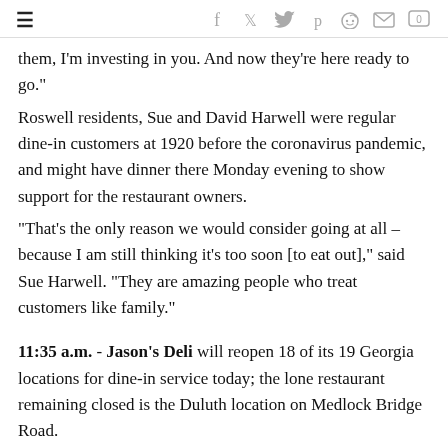≡  f  𝕏(twitter)  p  reddit  mail  comment(0)
them, I'm investing in you. And now they're here ready to go."
Roswell residents, Sue and David Harwell were regular dine-in customers at 1920 before the coronavirus pandemic, and might have dinner there Monday evening to show support for the restaurant owners.
"That's the only reason we would consider going at all – because I am still thinking it's too soon [to eat out]," said Sue Harwell. "They are amazing people who treat customers like family."
11:35 a.m. - Jason's Deli will reopen 18 of its 19 Georgia locations for dine-in service today; the lone restaurant remaining closed is the Duluth location on Medlock Bridge Road.